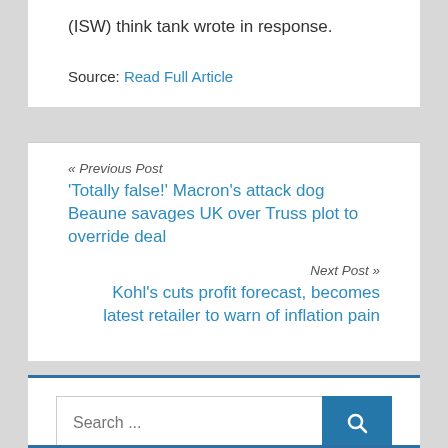(ISW) think tank wrote in response.
Source: Read Full Article
« Previous Post
'Totally false!' Macron's attack dog Beaune savages UK over Truss plot to override deal
Next Post »
Kohl's cuts profit forecast, becomes latest retailer to warn of inflation pain
[Figure (other): Search box with text input field placeholder 'Search ...' and a blue search button with magnifying glass icon]